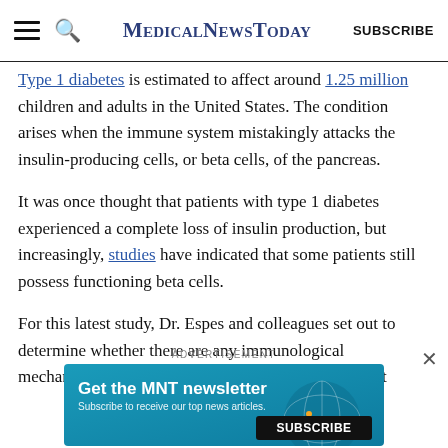MedicalNewsToday  SUBSCRIBE
Type 1 diabetes is estimated to affect around 1.25 million children and adults in the United States. The condition arises when the immune system mistakingly attacks the insulin-producing cells, or beta cells, of the pancreas.
It was once thought that patients with type 1 diabetes experienced a complete loss of insulin production, but increasingly, studies have indicated that some patients still possess functioning beta cells.
For this latest study, Dr. Espes and colleagues set out to determine whether there are any immunological mechanisms that might explain why some patients with
[Figure (infographic): Advertisement banner for MNT newsletter with teal background, text 'Get the MNT newsletter', 'Subscribe to receive our top news articles.', and a black SUBSCRIBE button.]